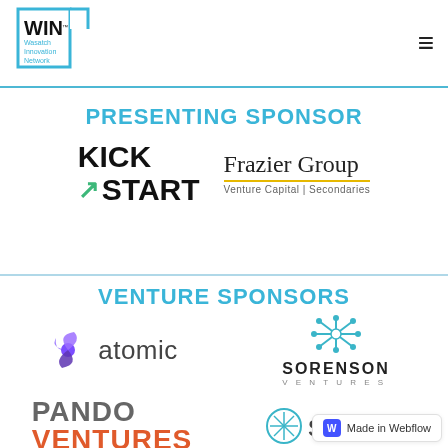[Figure (logo): WIN Wasatch Innovation Network logo - blue outlined Utah state shape with WIN text inside]
PRESENTING SPONSOR
[Figure (logo): Kickstart logo - bold black KICK START text with green arrow icon]
[Figure (logo): Frazier Group logo - serif text with gold underline, subtitle Venture Capital | Secondaries]
VENTURE SPONSORS
[Figure (logo): Atomic logo - purple geometric icon with atomic text]
[Figure (logo): Sorenson Ventures logo - teal snowflake/flower icon with SORENSON VENTURES text]
[Figure (logo): Pando Ventures logo - PANDO in gray, VENTURES in orange]
[Figure (logo): Sweater logo - snowflake icon with sweater text]
Made in Webflow